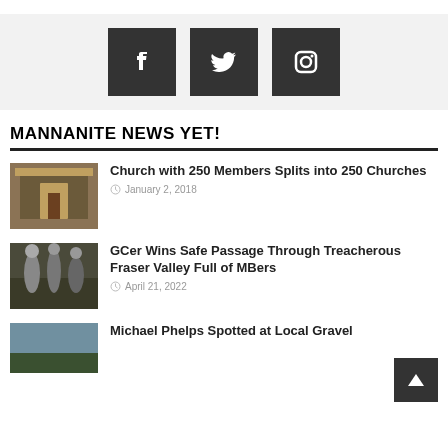[Figure (infographic): Social media icons: Facebook, Twitter, Instagram on dark square backgrounds in a light grey bar]
MANNANITE NEWS YET!
[Figure (photo): Interior of a church with wooden doors and pews]
Church with 250 Members Splits into 250 Churches
January 2, 2018
[Figure (photo): Historical figures in period clothing outdoors]
GCer Wins Safe Passage Through Treacherous Fraser Valley Full of MBers
April 21, 2022
Michael Phelps Spotted at Local Gravel